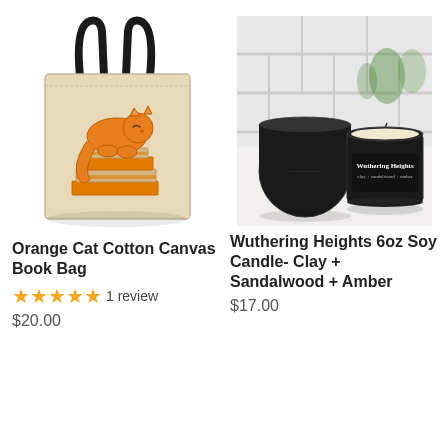[Figure (illustration): Orange cat sitting on a stack of books, printed on a beige canvas tote bag with black handles]
Orange Cat Cotton Canvas Book Bag
★★★★★ 1 review
$20.00
[Figure (photo): Photograph of a black tin candle labeled Wuthering Heights clay + sandalwood + amber, with the lid resting against it, white tile background with small plants]
Wuthering Heights 6oz Soy Candle- Clay + Sandalwood + Amber
$17.00